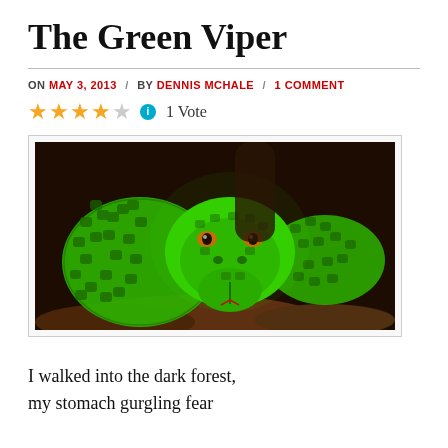The Green Viper
ON MAY 3, 2013 / BY DENNIS MCHALE / 1 COMMENT
1 Vote (4 out of 5 stars)
[Figure (photo): Close-up photograph of a bright green viper snake coiled on a branch, facing the camera with striking detail of its scales]
I walked into the dark forest,
my stomach gurgling fear